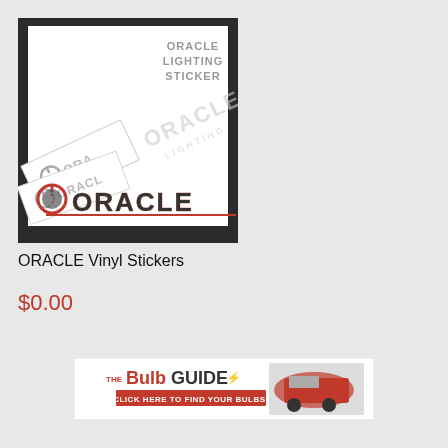[Figure (photo): ORACLE Lighting Sticker product image showing multiple vinyl sticker designs on dark background with ORACLE logo text]
ORACLE Vinyl Stickers
$0.00
[Figure (illustration): The Bulb Guide banner advertisement - click here to find your bulbs]